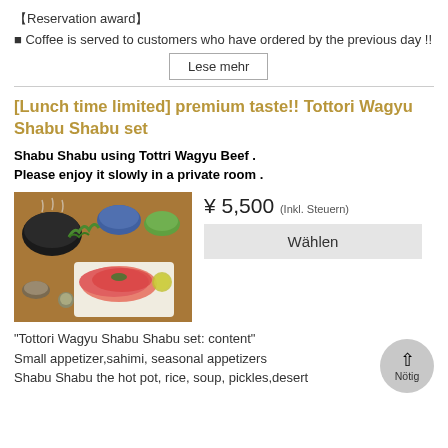【Reservation award】
■ Coffee is served to customers who have ordered by the previous day !!
Lese mehr
[Lunch time limited] premium taste!! Tottori Wagyu Shabu Shabu set
Shabu Shabu using Tottri Wagyu Beef .
Please enjoy it slowly in a private room .
[Figure (photo): A Japanese hot pot meal spread with Wagyu beef slices, vegetables, dipping sauces and condiments on a wooden tray]
¥ 5,500 (Inkl. Steuern)
Wählen
Nötig
"Tottori Wagyu Shabu Shabu set: content"
Small appetizer,sahimi, seasonal appetizers
Shabu Shabu the hot pot, rice, soup, pickles,desert